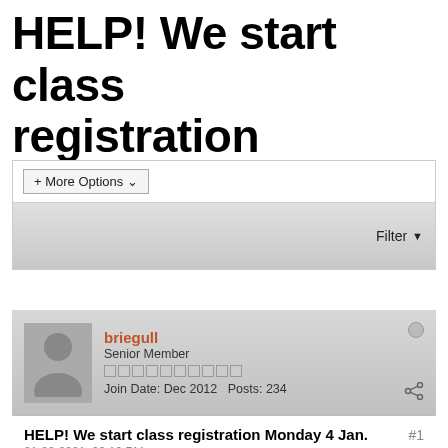HELP! We start class registration Monday 4 Jan.
+ More Options ▾
Filter ▼
briegull
Senior Member
Join Date: Dec 2012   Posts: 234
HELP! We start class registration Monday 4 Jan. #1
01-02-2021, 02:19 PM

Event: Winter 2021 - due to go live on Monday 4 Jan 2021

Box office works fine, as usual